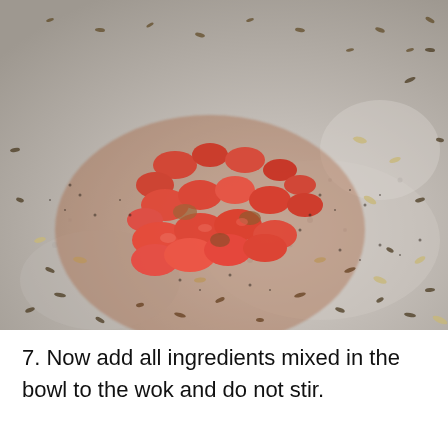[Figure (photo): Close-up photograph of diced tomatoes and spices (cumin seeds and other mixed ingredients) cooking in a metal wok or pan. The ingredients are piled in the center-left of the pan, surrounded by scattered seeds and moisture droplets on the shiny metallic surface.]
7. Now add all ingredients mixed in the bowl to the wok and do not stir.